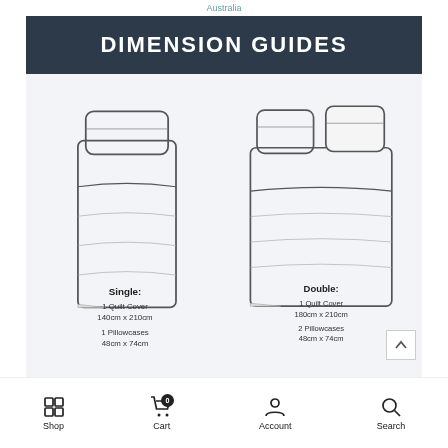Australia
DIMENSION GUIDES
[Figure (illustration): Two bed illustrations side by side. Left: a single bed with one pillow. Right: a double bed with two pillows. Each illustration shows bedding dimensions below the image. Single: 1 Quilt Cover 140cm x 210cm, 1 Pillowcases 48cm x 74cm. Double: 1 Quilt Cover 180cm x 210cm, 2 Pillowcases 48cm x 74cm.]
Shop  Cart  Account  Search